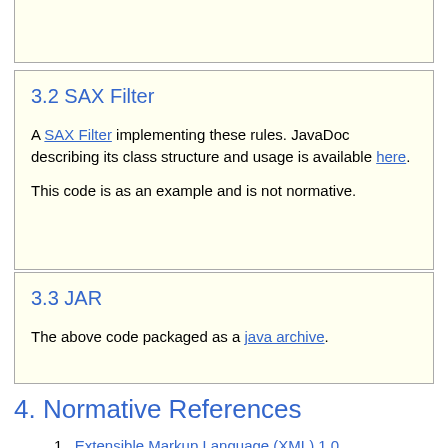3.2 SAX Filter
A SAX Filter implementing these rules. JavaDoc describing its class structure and usage is available here.
This code is as an example and is not normative.
3.3 JAR
The above code packaged as a java archive.
4. Normative References
Extensible Markup Language (XML) 1.0